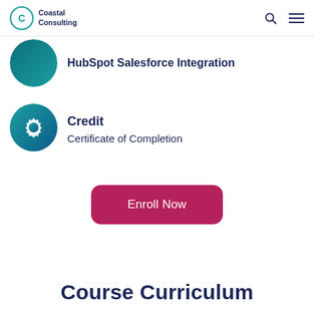Coastal Consulting
HubSpot Salesforce Integration
Credit
Certificate of Completion
Enroll Now
Course Curriculum